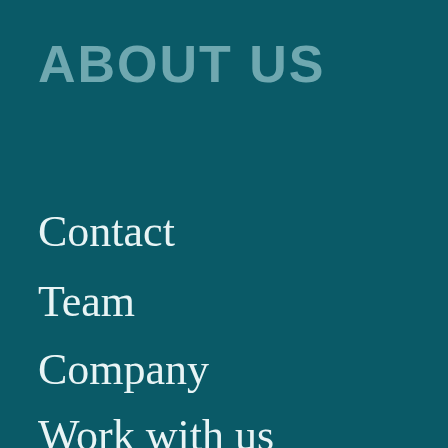ABOUT US
Contact
Team
Company
Work with us